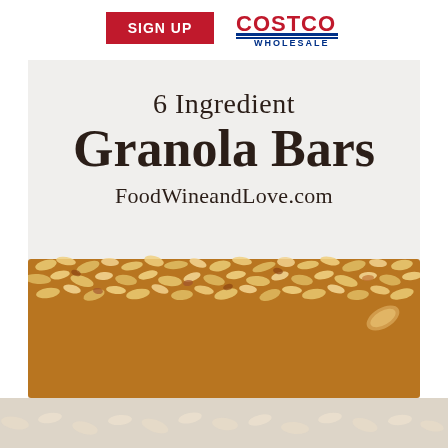SIGN UP | COSTCO WHOLESALE
6 Ingredient Granola Bars
FoodWineandLove.com
[Figure (photo): Close-up photo of a granola bar made with oats, seeds, and dried fruits, showing textured top surface.]